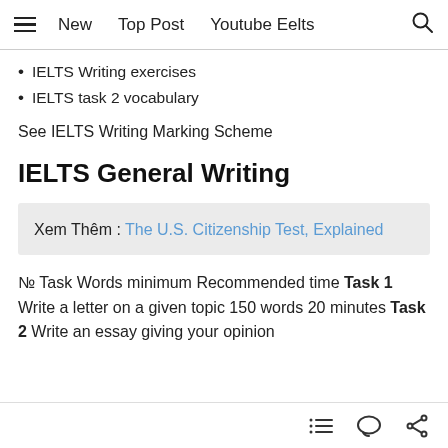≡  New  Top Post  Youtube Eelts  🔍
IELTS Writing exercises
IELTS task 2 vocabulary
See IELTS Writing Marking Scheme
IELTS General Writing
Xem Thêm : The U.S. Citizenship Test, Explained
№ Task Words minimum Recommended time Task 1 Write a letter on a given topic 150 words 20 minutes Task 2 Write an essay giving your opinion